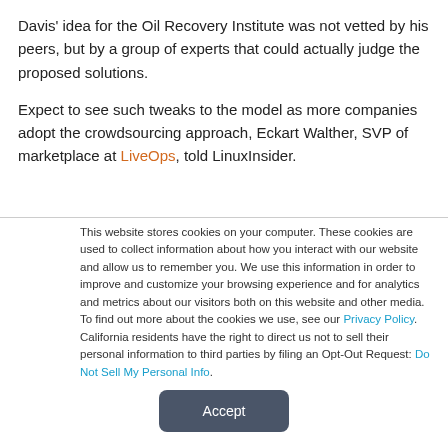Davis' idea for the Oil Recovery Institute was not vetted by his peers, but by a group of experts that could actually judge the proposed solutions.
Expect to see such tweaks to the model as more companies adopt the crowdsourcing approach, Eckart Walther, SVP of marketplace at LiveOps, told LinuxInsider.
This website stores cookies on your computer. These cookies are used to collect information about how you interact with our website and allow us to remember you. We use this information in order to improve and customize your browsing experience and for analytics and metrics about our visitors both on this website and other media. To find out more about the cookies we use, see our Privacy Policy. California residents have the right to direct us not to sell their personal information to third parties by filing an Opt-Out Request: Do Not Sell My Personal Info.